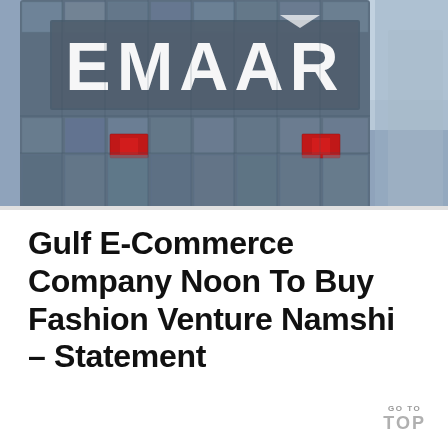[Figure (photo): Photograph of the Emaar building facade showing the large EMAAR sign/logo on the exterior glass and steel building. Red flags or banners visible on lower floors. Blue sky visible at top right.]
Gulf E-Commerce Company Noon To Buy Fashion Venture Namshi – Statement
GO TO TOP